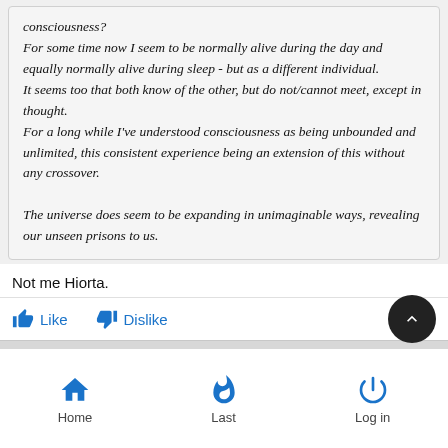consciousness?
For some time now I seem to be normally alive during the day and equally normally alive during sleep - but as a different individual.
It seems too that both know of the other, but do not/cannot meet, except in thought.
For a long while I've understood consciousness as being unbounded and unlimited, this consistent experience being an extension of this without any crossover.

The universe does seem to be expanding in unimaginable ways, revealing our unseen prisons to us.
Not me Hiorta.
Like   Dislike